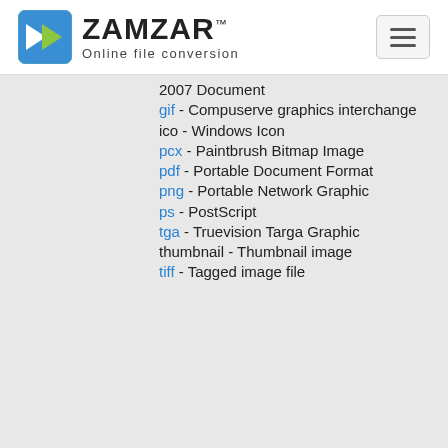ZAMZAR™ Online file conversion
2007 Document
gif - Compuserve graphics interchange
ico - Windows Icon
pcx - Paintbrush Bitmap Image
pdf - Portable Document Format
png - Portable Network Graphic
ps - PostScript
tga - Truevision Targa Graphic
thumbnail - Thumbnail image
tiff - Tagged image file